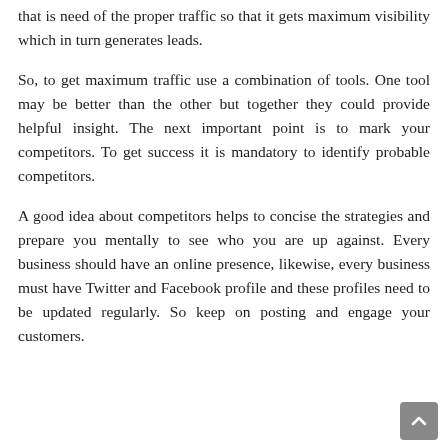that is need of the proper traffic so that it gets maximum visibility which in turn generates leads.
So, to get maximum traffic use a combination of tools. One tool may be better than the other but together they could provide helpful insight. The next important point is to mark your competitors. To get success it is mandatory to identify probable competitors.
A good idea about competitors helps to concise the strategies and prepare you mentally to see who you are up against. Every business should have an online presence, likewise, every business must have Twitter and Facebook profile and these profiles need to be updated regularly. So keep on posting and engage your customers.